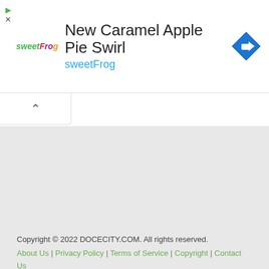[Figure (logo): sweetFrog frozen yogurt advertisement banner with logo, title 'New Caramel Apple Pie Swirl', brand name 'sweetFrog', and a blue diamond navigation icon]
Copyright © 2022 DOCECITY.COM. All rights reserved.
About Us | Privacy Policy | Terms of Service | Copyright | Contact Us